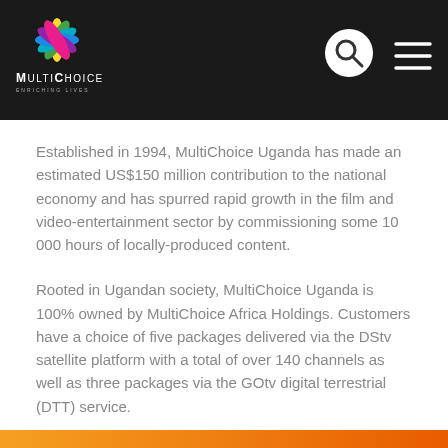[Figure (logo): MultiChoice logo with colorful flower/leaf icon and company name text]
Established in 1994, MultiChoice Uganda has made an estimated US$150 million contribution to the national economy and has spurred rapid growth in the film and video-entertainment sector by commissioning some 10 000 hours of locally-produced content.
Rooted in Ugandan society, MultiChoice Uganda is 100% owned by MultiChoice Africa Holdings. Customers have a choice of five packages delivered via the DStv satellite platform with a total of over 140 channels as well as three packages via the GOtv digital terrestrial (DTT) service.